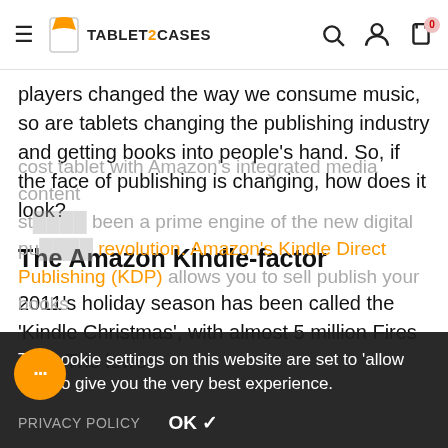TABLET2CASES
players changed the way we consume music, so are tablets changing the publishing industry and getting books into people's hand. So, if the face of publishing is changing, how does it look?
The Amazon Kindle-factor
2011's holiday season has been called the 'Kindle Christmas', with almost 5 million Fires sold. The lower-cost tablet with Amazon's integrated media content st... been a prime engine of the new digital pu... revolution. Amazon's Kindle Direct Publishing (KDP) allows you to sell publish your books
The cookie settings on this website are set to 'allow kies' to give you the very best experience.